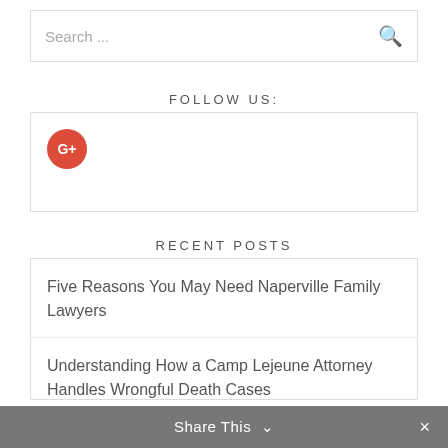Search ...
FOLLOW US:
[Figure (logo): Google+ red circle icon with G+ text]
RECENT POSTS
Five Reasons You May Need Naperville Family Lawyers
Understanding How a Camp Lejeune Attorney Handles Wrongful Death Cases
When in Doubt, It’s Always Best to Call an Electrician in Bend, Oregon
Share This ∨ ×